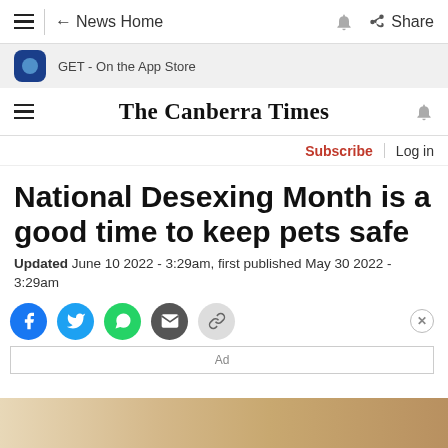← News Home | Share
[Figure (screenshot): App store banner with blue icon and text: GET - On the App Store]
The Canberra Times
Subscribe | Log in
National Desexing Month is a good time to keep pets safe
Updated June 10 2022 - 3:29am, first published May 30 2022 - 3:29am
[Figure (screenshot): Social sharing buttons: Facebook, Twitter, WhatsApp, Email, Link. Close X button on right. Ad placeholder box below.]
[Figure (photo): Partial photo visible at bottom of page, warm golden/brown tones]